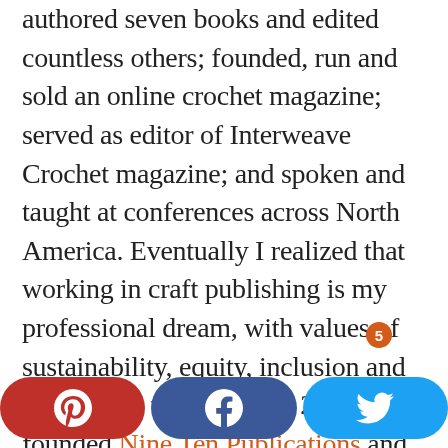authored seven books and edited countless others; founded, run and sold an online crochet magazine; served as editor of Interweave Crochet magazine; and spoken and taught at conferences across North America. Eventually I realized that working in craft publishing is my professional dream, with values of sustainability, equity, inclusion and diversity at the centre. In 2020, I co-founded Nine Ten Publications and its flagship online magazine, Digits & Threads. I live in Vancouver, Canada, where I weave, experiment with natural dyes, and current phone…